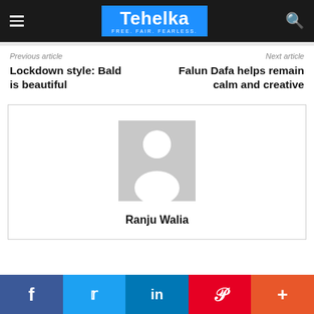Tehelka — FREE. FAIR. FEARLESS.
Previous article
Next article
Lockdown style: Bald is beautiful
Falun Dafa helps remain calm and creative
[Figure (photo): Default avatar placeholder image — grey background with white silhouette of a person]
Ranju Walia
Social share buttons: Facebook, Twitter, LinkedIn, Pinterest, More